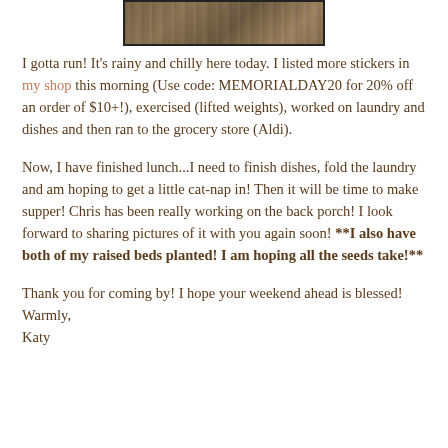[Figure (photo): Wooden texture / wood grain image shown as a rectangular banner at the top of the page]
I gotta run! It's rainy and chilly here today. I listed more stickers in my shop this morning (Use code: MEMORIALDAY20 for 20% off an order of $10+!), exercised (lifted weights), worked on laundry and dishes and then ran to the grocery store (Aldi).
Now, I have finished lunch...I need to finish dishes, fold the laundry and am hoping to get a little cat-nap in! Then it will be time to make supper! Chris has been really working on the back porch! I look forward to sharing pictures of it with you again soon! **I also have both of my raised beds planted! I am hoping all the seeds take!**
Thank you for coming by! I hope your weekend ahead is blessed!
Warmly,
Katy